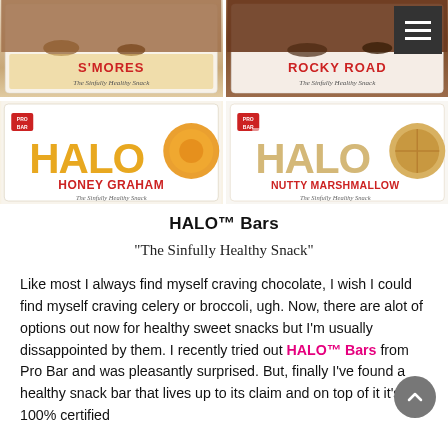[Figure (photo): Four HALO bar product shots in a 2x2 grid: S'Mores, Rocky Road, Honey Graham, Nutty Marshmallow]
HALO™ Bars
"The Sinfully Healthy Snack"
Like most I always find myself craving chocolate, I wish I could find myself craving celery or broccoli, ugh. Now, there are alot of options out now for healthy sweet snacks but I'm usually dissappointed by them. I recently tried out HALO™ Bars from Pro Bar and was pleasantly surprised. But, finally I've found a healthy snack bar that lives up to its claim and on top of it it's 100% certified